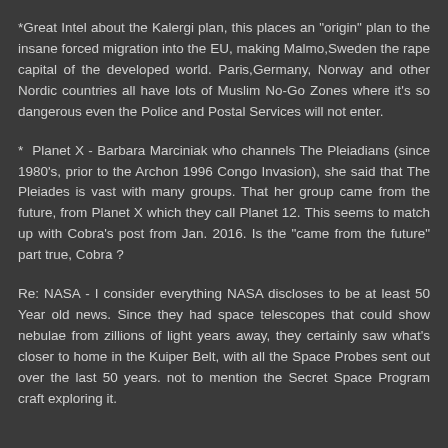*Great Intel about the Kalergi plan, this places an "origin" plan to the insane forced migration into the EU, making Malmo,Sweden the rape capital of the developed world. Paris,Germany, Norway and other Nordic countries all have lots of Muslim No-Go Zones where it's so dangerous even the Police and Postal Services will not enter.
* Planet X - Barbara Marciniak who channels The Pleiadians (since 1980's, prior to the Archon 1996 Congo Invasion), she said that The Pleiades is vast with many groups. That her group came from the future, from Planet X which they call Planet 12. This seems to match up with Cobra's post from Jan. 2016. Is the "came from the future" part true, Cobra ?
Re: NASA - I consider everything NASA discloses to be at least 50 Year old news. Since they had space telescopes that could show nebulae from zillions of light years away, they certainly saw what's closer to home in the Kuiper Belt, with all the Space Probes sent out over the last 50 years. not to mention the Secret Space Program craft exploring it.